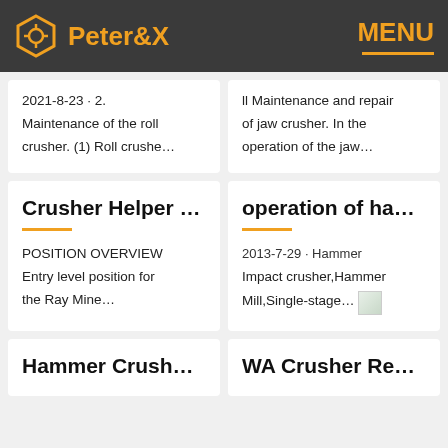Peter&X  MENU
2021-8-23 · 2. Maintenance of the roll crusher. (1) Roll crushe…
ll Maintenance and repair of jaw crusher. In the operation of the jaw…
Crusher Helper …
POSITION OVERVIEW Entry level position for the Ray Mine…
operation of ha…
2013-7-29 · Hammer Impact crusher,Hammer Mill,Single-stage…
Hammer Crush…
WA Crusher Re…